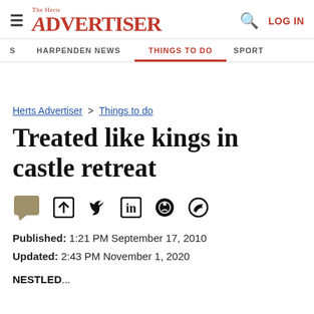The Herts Advertiser | LOG IN
HARPENDEN NEWS | THINGS TO DO | SPORT
Herts Advertiser > Things to do
Treated like kings in castle retreat
Published: 1:21 PM September 17, 2010
Updated: 2:43 PM November 1, 2020
NESTLED...